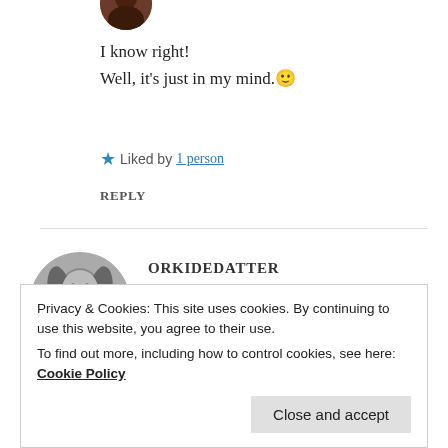[Figure (photo): Partial circular avatar photo at top, cropped]
I know right!
Well, it's just in my mind.🙂
★ Liked by 1 person
REPLY
[Figure (photo): Circular black and white profile photo of a woman with long hair]
ORKIDEDATTER
16 May 2019 at 11:51 am
Privacy & Cookies: This site uses cookies. By continuing to use this website, you agree to their use.
To find out more, including how to control cookies, see here: Cookie Policy
Close and accept